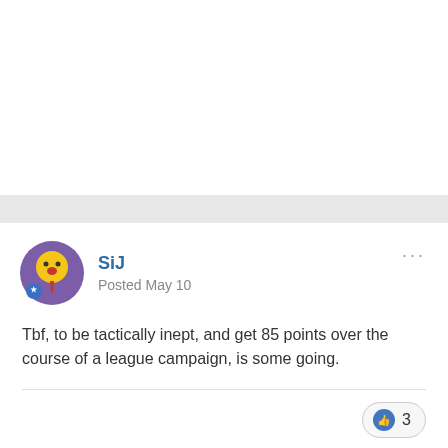SiJ
Posted May 10
Tbf, to be tactically inept, and get 85 points over the course of a league campaign, is some going.